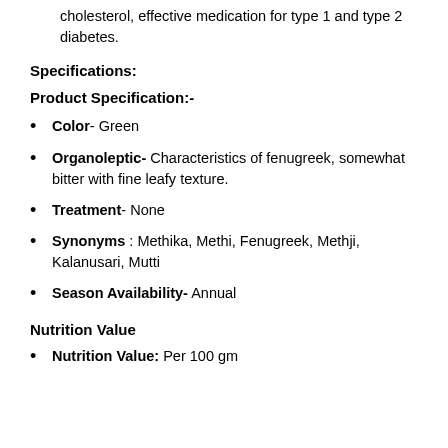cholesterol, effective medication for type 1 and type 2 diabetes.
Specifications:
Product Specification:-
Color- Green
Organoleptic- Characteristics of fenugreek, somewhat bitter with fine leafy texture.
Treatment- None
Synonyms : Methika, Methi, Fenugreek, Methji, Kalanusari, Mutti
Season Availability- Annual
Nutrition Value
Nutrition Value: Per 100 gm